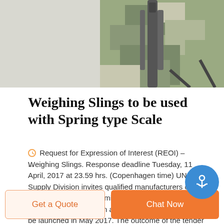[Figure (photo): Photo of military camouflage weighing sling equipment against white background]
Weighing Slings to be used with Spring type Scale
Request for Expression of Interest (REOI) – Weighing Slings. Response deadline Tuesday, 11 April, 2017 at 23.59 hrs. (Copenhagen time) UNICEF Supply Division invites qualified manufacturers of Weighing Slings to submit an Expression of Interest (EOI) for participation in a global tender exercise to be launched in May 2017. The outcome of the tender will be an award of a Long ...